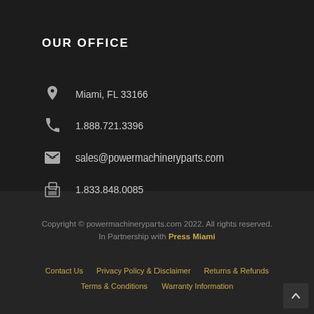OUR OFFICE
Miami, FL 33166
1.888.721.3396
sales@powermachineryparts.com
1.833.848.0085
Copyright © powermachineryparts.com 2022. All rights reserved. In Partnership with Press Miami
Contact Us  Privacy Policy & Disclaimer  Returns & Refunds  Terms & Conditions  Warranty Information